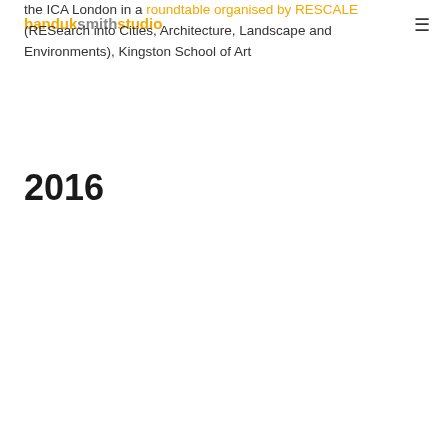banduksmithstudio [hamburger menu icon]
the ICA London in a roundtable organised by RESCALE (RESearch into Cities, Architecture, Landscape and Environments), Kingston School of Art
2016